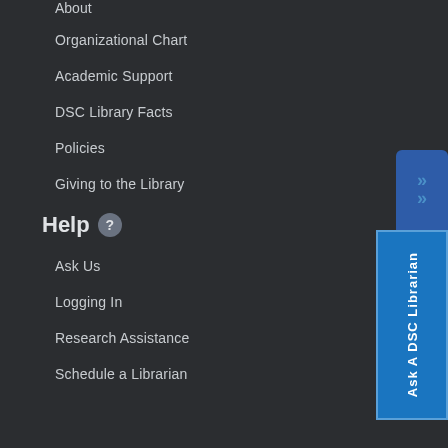About (truncated)
Organizational Chart
Academic Support
DSC Library Facts
Policies
Giving to the Library
Help
Ask Us
Logging In
Research Assistance
Schedule a Librarian
[Figure (other): Ask A DSC Librarian sidebar tab with blue background and chevron icon]